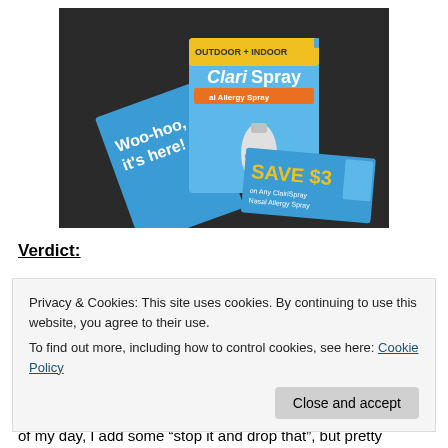[Figure (photo): Photo of ClairiSpray nasal allergy spray product box alongside a 'Woo-hoo, it's here!' blue booklet and a 'SAVE $3' coupon card, all on a dark surface.]
Verdict:
Privacy & Cookies: This site uses cookies. By continuing to use this website, you agree to their use.
To find out more, including how to control cookies, see here: Cookie Policy
of my day, I add some “stop it and drop that”, but pretty